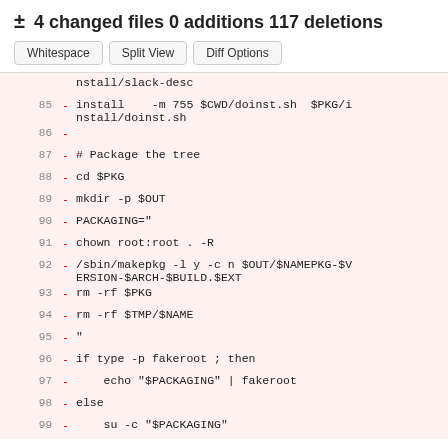± 4 changed files 0 additions 117 deletions
Whitespace | Split View | Diff Options
nstall/slack-desc
85  - install    -m 755 $CWD/doinst.sh  $PKG/install/doinst.sh
86  -
87  - # Package the tree
88  - cd $PKG
89  - mkdir -p $OUT
90  - PACKAGING="
91  - chown root:root . -R
92  - /sbin/makepkg -l y -c n $OUT/$NAMEPKG-$VERSION-$ARCH-$BUILD.$EXT
93  - rm -rf $PKG
94  - rm -rf $TMP/$NAME
95  - "
96  - if type -p fakeroot ; then
97  -     echo "$PACKAGING" | fakeroot
98  - else
99  -     su -c "$PACKAGING"